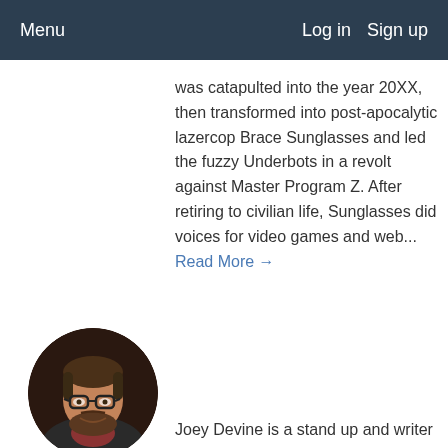Menu  Log in  Sign up
was catapulted into the year 20XX, then transformed into post-apocalytic lazercop Brace Sunglasses and led the fuzzy Underbots in a revolt against Master Program Z. After retiring to civilian life, Sunglasses did voices for video games and web... Read More →
[Figure (photo): Circular headshot photo of Joey Devine, a man with glasses and a beard wearing a dark jacket over a red shirt, smiling]
Joey Devine
Joey Devine is a stand up and writer from the San Francisco Bay Area, and